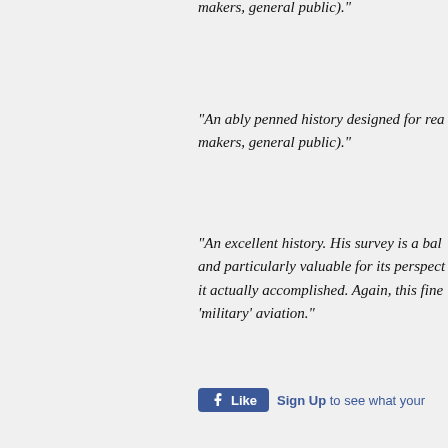makers, general public)."
“An ably penned history designed for rea makers, general public).”
“An excellent history. His survey is a bal and particularly valuable for its perspect it actually accomplished. Again, this fine ‘military’ aviation.”
[Figure (screenshot): Facebook Like button widget with 'Like' button in blue and 'Sign Up' link text]
All titles are published University Press Audi an imprint of Redwood A
[Figure (logo): Find us on Facebook badge with Facebook logo in blue]